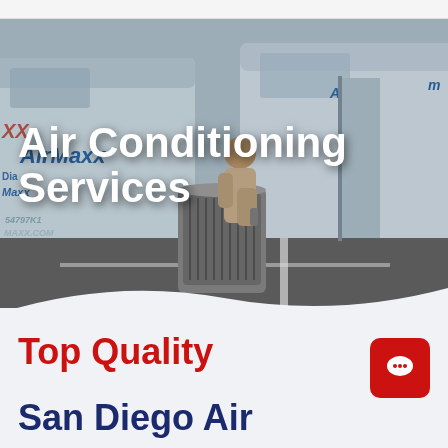[Figure (photo): Hero image showing HVAC technician servicing an air conditioning unit in a parking lot, surrounded by AirMaxx branded service vans]
Air Conditioning Services
Top Quality San Diego Air